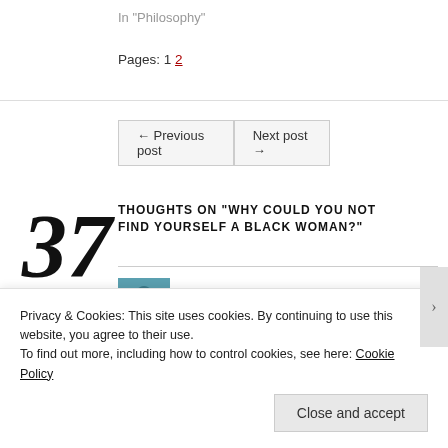In "Philosophy"
Pages: 1 2
← Previous post    Next post →
37 THOUGHTS ON "WHY COULD YOU NOT FIND YOURSELF A BLACK WOMAN?"
insanitybytes22 said: November 14, 2014 at 07:21
Privacy & Cookies: This site uses cookies. By continuing to use this website, you agree to their use. To find out more, including how to control cookies, see here: Cookie Policy
Close and accept